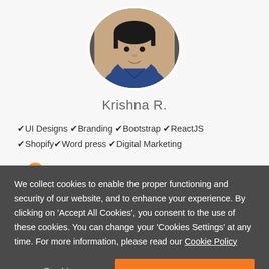[Figure (photo): Circular profile photo of a person wearing a blue polo shirt]
Krishna R.
✔UI Designs ✔Branding ✔Bootstrap ✔ReactJS ✔Shopify✔WordPress ✔Digital Marketing
India
We collect cookies to enable the proper functioning and security of our website, and to enhance your experience. By clicking on 'Accept All Cookies', you consent to the use of these cookies. You can change your 'Cookies Settings' at any time. For more information, please read our Cookie Policy
Cookie Settings
ACCEPT ALL COOKIES